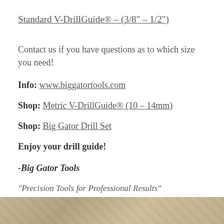Standard V-DrillGuide® – (3/8" – 1/2")
Contact us if you have questions as to which size you need!
Info: www.biggatortools.com
Shop: Metric V-DrillGuide® (10 – 14mm)
Shop: Big Gator Drill Set
Enjoy your drill guide!
-Big Gator Tools
“Precision Tools for Professional Results”
[Figure (photo): Bottom strip showing a textured surface photo, partially visible at the bottom of the page.]